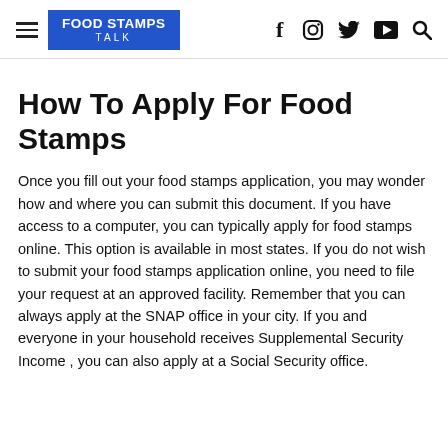Food Stamps Talk — navigation header with logo and social icons
How To Apply For Food Stamps
Once you fill out your food stamps application, you may wonder how and where you can submit this document. If you have access to a computer, you can typically apply for food stamps online. This option is available in most states. If you do not wish to submit your food stamps application online, you need to file your request at an approved facility. Remember that you can always apply at the SNAP office in your city. If you and everyone in your household receives Supplemental Security Income , you can also apply at a Social Security office.